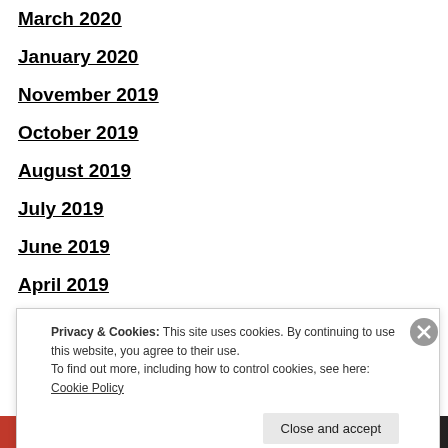March 2020
January 2020
November 2019
October 2019
August 2019
July 2019
June 2019
April 2019
March 2019
February 2019
January 2019
Privacy & Cookies: This site uses cookies. By continuing to use this website, you agree to their use.
To find out more, including how to control cookies, see here: Cookie Policy
Close and accept